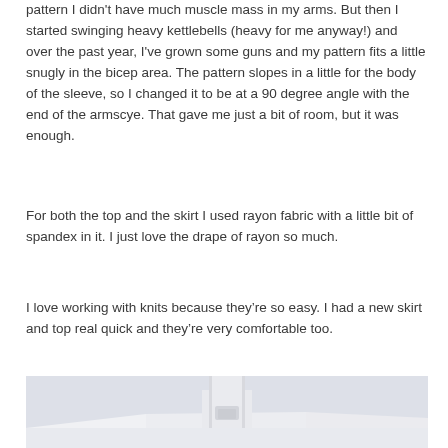pattern I didn't have much muscle mass in my arms. But then I started swinging heavy kettlebells (heavy for me anyway!) and over the past year, I've grown some guns and my pattern fits a little snugly in the bicep area. The pattern slopes in a little for the body of the sleeve, so I changed it to be at a 90 degree angle with the end of the armscye. That gave me just a bit of room, but it was enough.
For both the top and the skirt I used rayon fabric with a little bit of spandex in it. I just love the drape of rayon so much.
I love working with knits because they're so easy. I had a new skirt and top real quick and they're very comfortable too.
[Figure (photo): Photograph of a white church steeple or temple spire against a pale grey sky, taken from a low angle showing architectural details of the white building structure.]